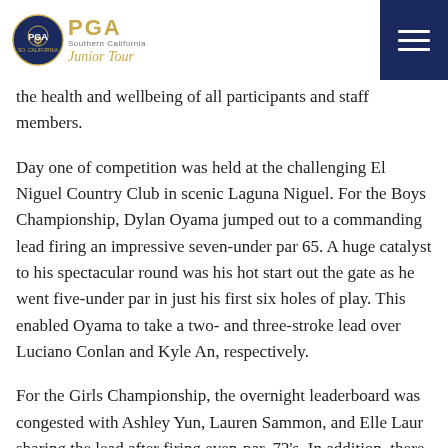PGA Southern California Junior Tour
the health and wellbeing of all participants and staff members.
Day one of competition was held at the challenging El Niguel Country Club in scenic Laguna Niguel. For the Boys Championship, Dylan Oyama jumped out to a commanding lead firing an impressive seven-under par 65. A huge catalyst to his spectacular round was his hot start out the gate as he went five-under par in just his first six holes of play. This enabled Oyama to take a two- and three-stroke lead over Luciano Conlan and Kyle An, respectively.
For the Girls Championship, the overnight leaderboard was congested with Ashley Yun, Lauren Sammon, and Elle Laur sharing the lead after firing even-par, 72's. In addition, there were four other players within a three-stroke striking range.
Day two of play traveled inland to nearby Arroyo Trabuco Golf Club in Mission Viejo and promised to deliver a drama-